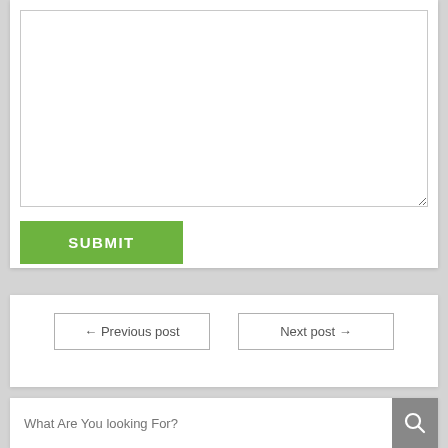[Figure (screenshot): A large empty white textarea input box with a resize handle at the bottom-right corner]
[Figure (screenshot): A green SUBMIT button with white bold uppercase text]
[Figure (screenshot): Navigation buttons: '← Previous post' on the left and 'Next post →' on the right, both with gray borders]
[Figure (screenshot): A search bar with placeholder text 'What Are You looking For?' and a gray search icon button on the right]